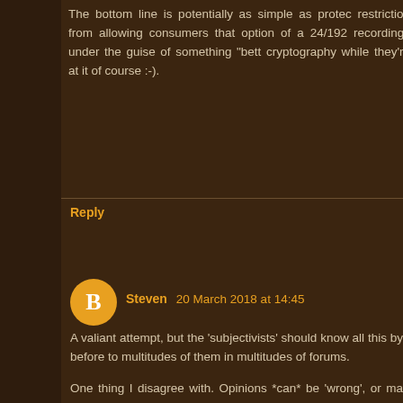The bottom line is potentially as simple as protection from allowing consumers that option of a restriction from allowing consumers that option of a 24/192 recordings under the guise of something "bett cryptography while they're at it of course :-).
Reply
Steven  20 March 2018 at 14:45
A valiant attempt, but the 'subjectivists' should know all this by before to multitudes of them in multitudes of forums.
One thing I disagree with. Opinions *can* be 'wrong', or ma example comes from a phantom switch test, where the same the subject doesn't know it. Not infrequently a subject will be sounded different, and one sounded better than the other.
There are some audio fans that I know of who've gone fr accidentally self-administered 'phantom switch' experience. E hearing 'difference', when incontrovertably there was *none*, ca
Opinions can be 'wrong' when their underlying premises are fac